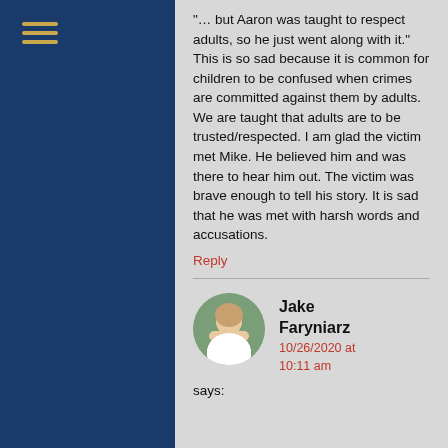[Figure (other): Hamburger menu icon with three horizontal golden/yellow lines on dark navy blue sidebar]
"… but Aaron was taught to respect adults, so he just went along with it." This is so sad because it is common for children to be confused when crimes are committed against them by adults. We are taught that adults are to be trusted/respected. I am glad the victim met Mike. He believed him and was there to hear him out. The victim was brave enough to tell his story. It is sad that he was met with harsh words and accusations.
Reply
Jake Faryniarz
10/26/2020 at 10:11 am
says: